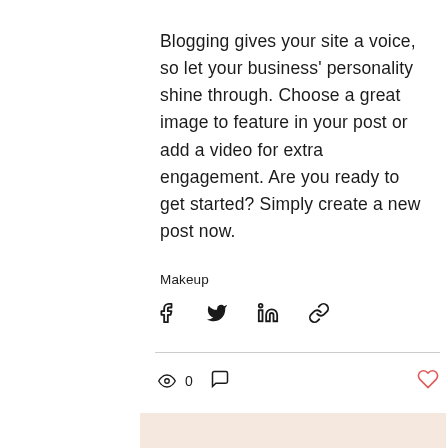Blogging gives your site a voice, so let your business' personality shine through. Choose a great image to feature in your post or add a video for extra engagement. Are you ready to get started? Simply create a new post now.
Makeup
[Figure (infographic): Social share icons: Facebook, Twitter, LinkedIn, and a link/chain icon]
[Figure (infographic): Interaction bar with eye/views icon showing 0 views, a comment bubble icon, and a heart/like icon on the right]
[Figure (other): Carousel navigation dots at bottom of a peach/beige colored section: three dots, left gray, center black (active), right gray]